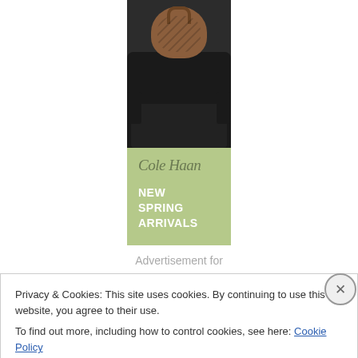[Figure (illustration): Cole Haan advertisement showing a brown leather bag on a black leather chair. Top half is a photo of the bag and chair on a wooden floor. Bottom half is sage green with the Cole Haan logo in italic script and bold white text reading NEW SPRING ARRIVALS.]
Advertisement for
Privacy & Cookies: This site uses cookies. By continuing to use this website, you agree to their use.
To find out more, including how to control cookies, see here: Cookie Policy
Close and accept